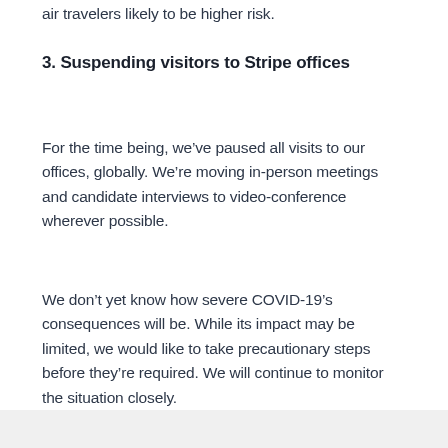air travelers likely to be higher risk.
3. Suspending visitors to Stripe offices
For the time being, we’ve paused all visits to our offices, globally. We’re moving in-person meetings and candidate interviews to video-conference wherever possible.
We don’t yet know how severe COVID-19’s consequences will be. While its impact may be limited, we would like to take precautionary steps before they’re required. We will continue to monitor the situation closely.